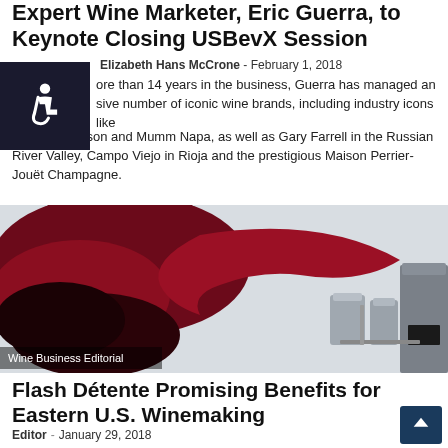Expert Wine Marketer, Eric Guerra, to Keynote Closing USBevX Session
Elizabeth Hans McCrone  -  February 1, 2018
ore than 14 years in the business, Guerra has managed an sive number of iconic wine brands, including industry icons like Kendall-Jackson and Mumm Napa, as well as Gary Farrell in the Russian River Valley, Campo Viejo in Rioja and the prestigious Maison Perrier-Jouët Champagne.
[Figure (photo): Composite image showing a splash of red wine on the left merging into an industrial winery setup with stainless steel tanks on the right, against a light background. Overlay text reads 'Wine Business Editorial'.]
Wine Business Editorial
Flash Détente Promising Benefits for Eastern U.S. Winemaking
Editor  -  January 29, 2018